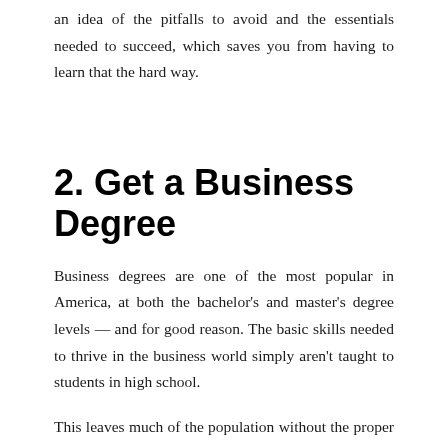an idea of the pitfalls to avoid and the essentials needed to succeed, which saves you from having to learn that the hard way.
2. Get a Business Degree
Business degrees are one of the most popular in America, at both the bachelor's and master's degree levels — and for good reason. The basic skills needed to thrive in the business world simply aren't taught to students in high school.
This leaves much of the population without the proper knowledge and skillsets when it comes to managing finances, leading groups, and raising